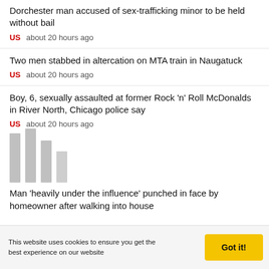Dorchester man accused of sex-trafficking minor to be held without bail
US   about 20 hours ago
Two men stabbed in altercation on MTA train in Naugatuck
US   about 20 hours ago
Boy, 6, sexually assaulted at former Rock 'n' Roll McDonalds in River North, Chicago police say
US   about 20 hours ago
[Figure (illustration): Placeholder image with grey vertical bars of varying heights]
Man 'heavily under the influence' punched in face by homeowner after walking into house
This website uses cookies to ensure you get the best experience on our website
Got it!